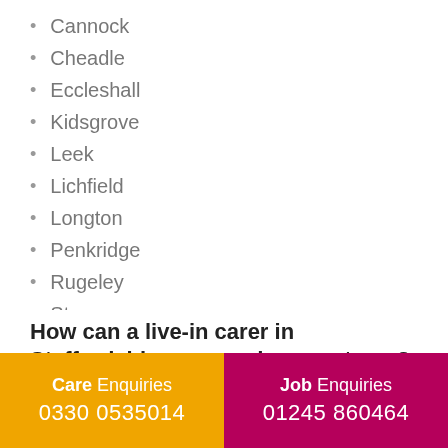Cannock
Cheadle
Eccleshall
Kidsgrove
Leek
Lichfield
Longton
Penkridge
Rugeley
Stone
Tamworth
Tunstall
Uttoxeter
How can a live-in carer in Staffordshire care and support you?
Care Enquiries
0330 0535014
Job Enquiries
01245 860464